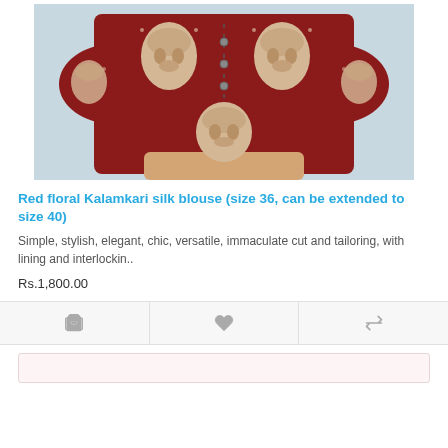[Figure (photo): Photo of a red Kalamkari silk blouse with Buddha face print, worn on a mannequin, front button closure visible]
Red floral Kalamkari silk blouse (size 36, can be extended to size 40)
Simple, stylish, elegant, chic, versatile, immaculate cut and tailoring, with lining and interlockin..
Rs.1,800.00